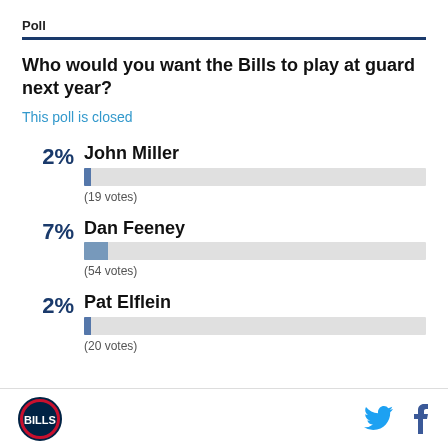Poll
Who would you want the Bills to play at guard next year?
This poll is closed
[Figure (bar-chart): Poll results]
Buffalo Bills logo, Twitter and Facebook icons